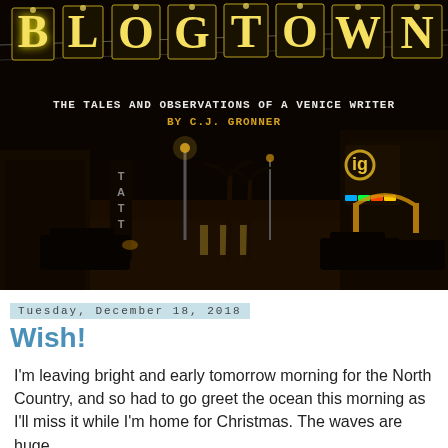[Figure (photo): Night street scene in Venice, CA with illuminated 'BLOGTOWN' letters hanging overhead. Subtitle reads 'THE TALES AND OBSERVATIONS OF A VENICE WRITER BY C.J. GRONNER'. Dark street with neon signs and palm trees in background.]
Tuesday, December 18, 2018
Wish!
I'm leaving bright and early tomorrow morning for the North Country, and so had to go greet the ocean this morning as I'll miss it while I'm home for Christmas. The waves are huge